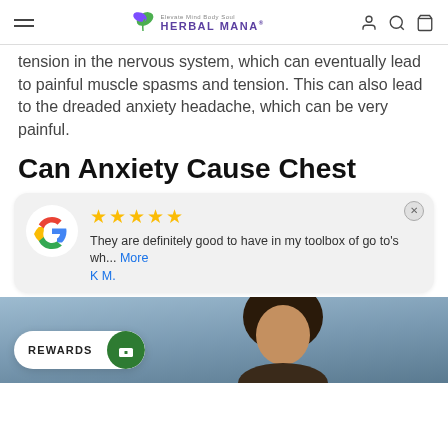Herbal Mana — navigation bar with hamburger menu, logo, user/search/cart icons
tension in the nervous system, which can eventually lead to painful muscle spasms and tension. This can also lead to the dreaded anxiety headache, which can be very painful.
Can Anxiety Cause Chest
[Figure (screenshot): Google review widget showing 5 gold stars, review text 'They are definitely good to have in my toolbox of go to's wh... More', reviewer name 'K M.']
[Figure (photo): Bottom portion of page showing a person with natural hair appearing distressed, with a Rewards button overlay at bottom left]
REWARDS